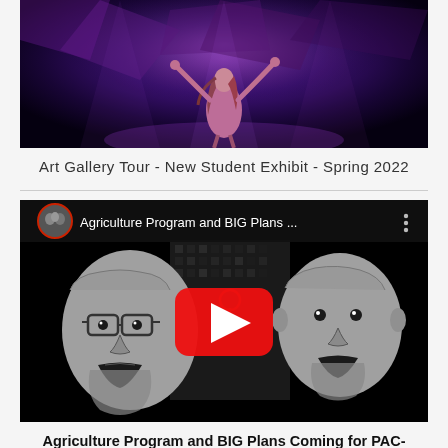[Figure (screenshot): Video thumbnail showing a performer on stage with purple/blue dramatic lighting, arms raised, dark atmospheric background]
Art Gallery Tour - New Student Exhibit - Spring 2022
[Figure (screenshot): YouTube video thumbnail for 'Agriculture Program and BIG Plans ...' showing two cartoon-style illustrated men with open mouths against a dark aerial background, with a YouTube play button in the center. A circular profile image is shown in the top-left corner of the video player.]
Agriculture Program and BIG Plans Coming for PAC- Spring 2022